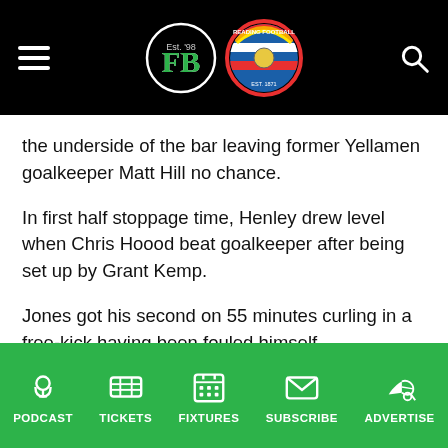Football Blogging / Reading FC website header with hamburger menu, FB logo, Reading FC logo, and search icon
the underside of the bar leaving former Yellamen goalkeeper Matt Hill no chance.
In first half stoppage time, Henley drew level when Chris Hoood beat goalkeeper after being set up by Grant Kemp.
Jones got his second on 55 minutes curling in a free-kick having been fouled himself.
PODCAST  TICKETS  FIXTURES  SUBSCRIBE  ADVERTISE